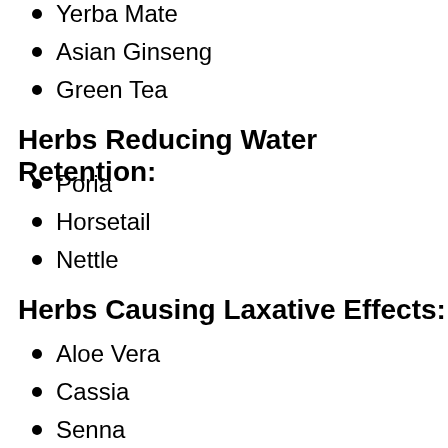Yerba Mate
Asian Ginseng
Green Tea
Herbs Reducing Water Retention:
Poria
Horsetail
Nettle
Herbs Causing Laxative Effects:
Aloe Vera
Cassia
Senna
Herbs for Liver Function: